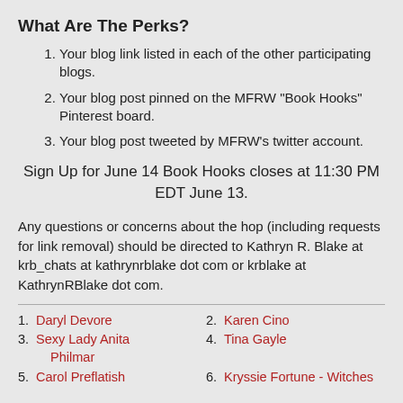What Are The Perks?
Your blog link listed in each of the other participating blogs.
Your blog post pinned on the MFRW "Book Hooks" Pinterest board.
Your blog post tweeted by MFRW's twitter account.
Sign Up for June 14 Book Hooks closes at 11:30 PM EDT June 13.
Any questions or concerns about the hop (including requests for link removal) should be directed to Kathryn R. Blake at krb_chats at kathrynrblake dot com or krblake at KathrynRBlake dot com.
1. Daryl Devore
2. Karen Cino
3. Sexy Lady Anita Philmar
4. Tina Gayle
5. Carol Preflatish
6. Kryssie Fortune - Witches